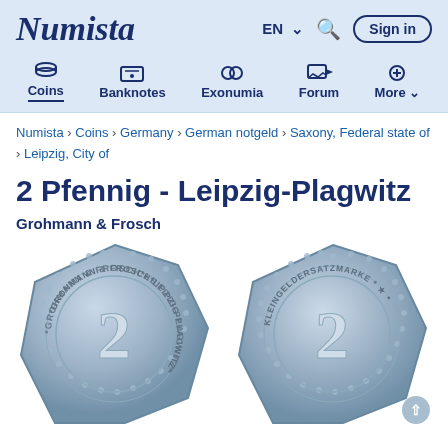Numista
Numista › Coins › Germany › German notgeld › Saxony, Federal state of › Leipzig, City of
2 Pfennig - Leipzig-Plagwitz
Grohmann & Frosch
[Figure (photo): Two octagonal zinc coins showing the obverse and reverse of a 2 Pfennig notgeld token from Leipzig-Plagwitz issued by Grohmann & Frosch. Obverse shows '2' in center with 'GROHMANN & FROSCH * LEIPZIG-PLAGWITZ' around it. Reverse shows '2' in center with 'KLEINGELDERSATZMARKE' around it.]